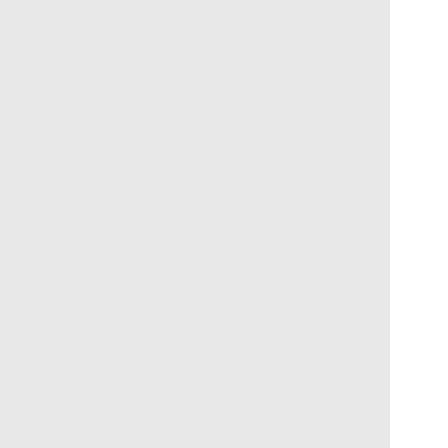and legendary skins such as Safari W... Emotes – Taunt your enemies and ch... emotes. Sprays – Make your mark on the batt... logos, and more (default: T). Voice Lines – Chat up your fellow pla... communications wheel (default: C). Victory Poses – Strike a pose and tai... Highlight Intros – Add a little flair to yo... introductions for each hero.
If a Loot Box contains an item that is... credits, a new in-game currency that... don't already own (see below for mor... from Loot Boxes—the higher the qua...
It's important to note that all of these... provide any additional player power. T... express yourself within the world of O... match—the choice is yours!
HERO GALLERY
Players can customize their heroes, v... unlock new items in the Hero Gallery...